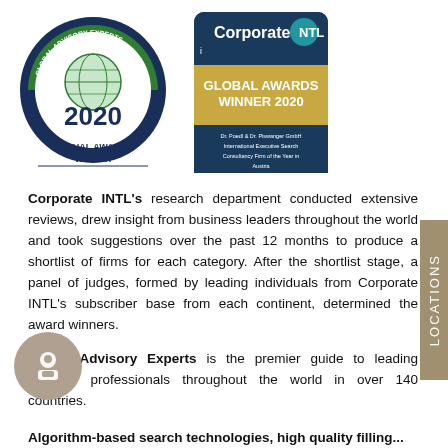[Figure (logo): Global Advisory Experts 2020 Annual Awards Winner circular badge logo]
[Figure (logo): Corporate INTL Global Awards Winner 2020 - Dr. Poedl & Dr. Piswanger GmbH International Executive Search Consultancy Firm of the Year in Austria]
Corporate INTL's research department conducted extensive reviews, drew insight from business leaders throughout the world and took suggestions over the past 12 months to produce a shortlist of firms for each category. After the shortlist stage, a panel of judges, formed by leading individuals from Corporate INTL's subscriber base from each continent, determined the award winners.
Global Advisory Experts is the premier guide to leading advisory professionals throughout the world in over 140 countries.
Algorithm-based search technologies, high quality filling...